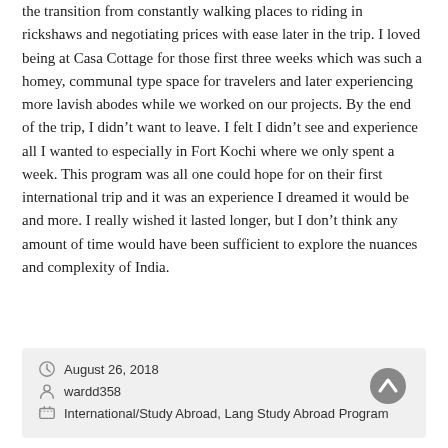the transition from constantly walking places to riding in rickshaws and negotiating prices with ease later in the trip. I loved being at Casa Cottage for those first three weeks which was such a homey, communal type space for travelers and later experiencing more lavish abodes while we worked on our projects. By the end of the trip, I didn't want to leave. I felt I didn't see and experience all I wanted to especially in Fort Kochi where we only spent a week. This program was all one could hope for on their first international trip and it was an experience I dreamed it would be and more. I really wished it lasted longer, but I don't think any amount of time would have been sufficient to explore the nuances and complexity of India.
August 26, 2018 | wardd358 | International/Study Abroad, Lang Study Abroad Program